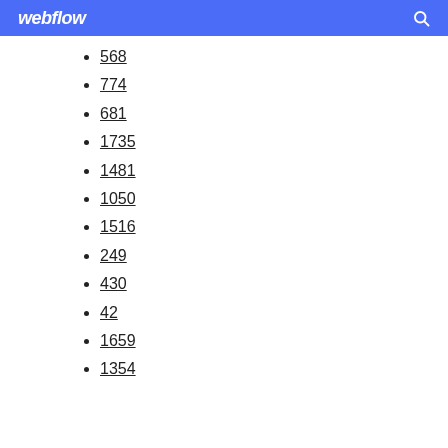webflow
568
774
681
1735
1481
1050
1516
249
430
42
1659
1354